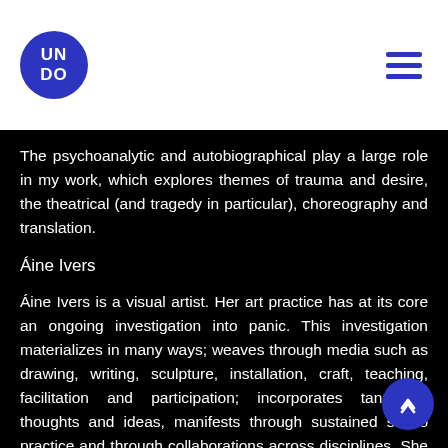UNDO
The psychoanalytic and autobiographical play a large role in my work, which explores themes of trauma and desire, the theatrical (and tragedy in particular), choreography and translation.
Áine Ivers
Áine Ivers is a visual artist. Her art practice has at its core an ongoing investigation into panic. This investigation materializes in many ways; weaves through media such as drawing, writing, sculpture, installation, craft, teaching, facilitation and participation; incorporates tangential thoughts and ideas, manifests through sustained studio practice and through collaborations across disciplines. She is currently looking at ecological